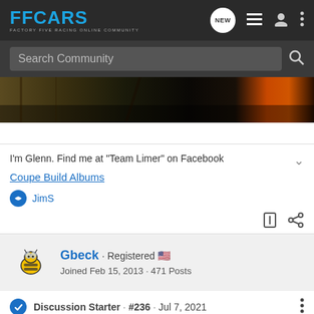FFCARS - FACTORY FIVE RACING ONLINE COMMUNITY
Search Community
[Figure (photo): Partial photo of a car build showing dark metal parts, jeans-clad legs, and an orange component]
I'm Glenn. Find me at "Team Limer" on Facebook
Coupe Build Albums
JimS
Gbeck · Registered
Joined Feb 15, 2013 · 471 Posts
Discussion Starter · #236 · Jul 7, 2021